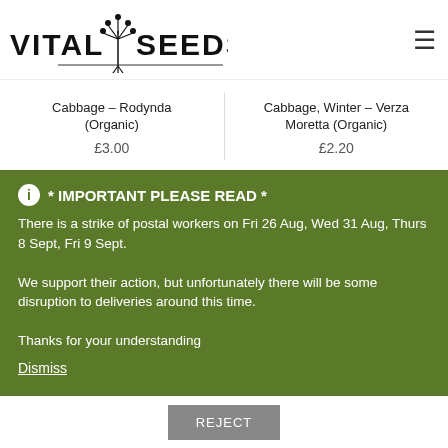[Figure (logo): Vital Seeds logo with plant/seed illustration and text 'VITAL SEEDS']
Cabbage – Rodynda (Organic)
£3.00
Cabbage, Winter – Verza Moretta (Organic)
£2.20
* IMPORTANT PLEASE READ *
There is a strike of postal workers on Fri 26 Aug, Wed 31 Aug, Thurs 8 Sept, Fri 9 Sept.
We support their action, but unfortunately there will be some disruption to deliveries around this time.
Thanks for your understanding
Dismiss